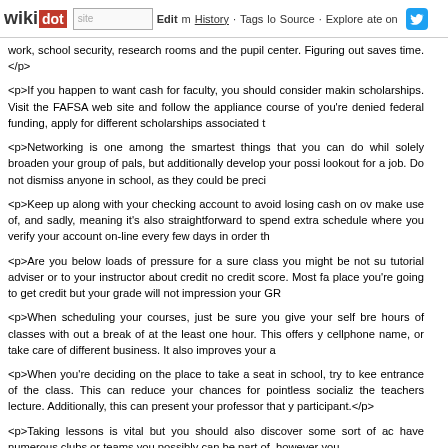wikidot | site | Edit | History | Tags | Source | Explore | Share on [Twitter]
work, school security, research rooms and the pupil center. Figuring out saves time.</p>
<p>If you happen to want cash for faculty, you should consider making scholarships. Visit the FAFSA web site and follow the appliance course of you're denied federal funding, apply for different scholarships associated t
<p>Networking is one among the smartest things that you can do whi solely broaden your group of pals, but additionally develop your possi lookout for a job. Do not dismiss anyone in school, as they could be preci
<p>Keep up along with your checking account to avoid losing cash on ov make use of, and sadly, meaning it's also straightforward to spend extra schedule where you verify your account on-line every few days in order th
<p>Are you below loads of pressure for a sure class you might be not su tutorial adviser or to your instructor about credit no credit score. Most fa place you're going to get credit but your grade will not impression your GR
<p>When scheduling your courses, just be sure you give your self bre hours of classes with out a break of at the least one hour. This offers y cellphone name, or take care of different business. It also improves your a
<p>When you're deciding on the place to take a seat in school, try to kee entrance of the class. This can reduce your chances for pointless socializ the teachers lecture. Additionally, this can present your professor that y participant.</p>
<p>Taking lessons is vital but you should also discover some sort of ac have numerous clubs or teams you possibly can be part of, however you